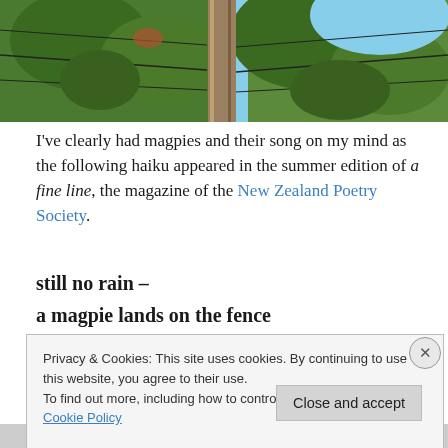[Figure (photo): Partial photo of a wooden fence post with wire fencing and green leaves/foliage in the background, with blue sky visible. The image is cropped at the top of the page.]
I've clearly had magpies and their song on my mind as the following haiku appeared in the summer edition of a fine line, the magazine of the New Zealand Poetry Society.
still no rain –
a magpie lands on the fence
and quardles
Sandra Simpson
Privacy & Cookies: This site uses cookies. By continuing to use this website, you agree to their use.
To find out more, including how to control cookies, see here: Cookie Policy
Close and accept